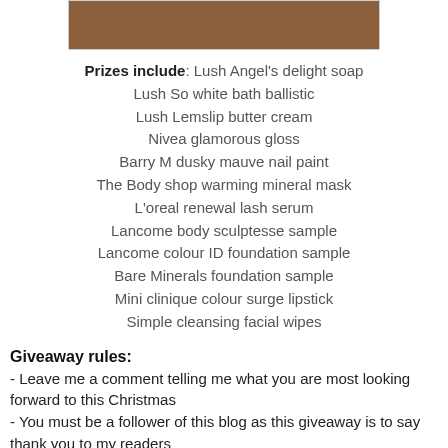[Figure (photo): Photo of beauty/cosmetic products on a table]
Prizes include: Lush Angel's delight soap
Lush So white bath ballistic
Lush Lemslip butter cream
Nivea glamorous gloss
Barry M dusky mauve nail paint
The Body shop warming mineral mask
L'oreal renewal lash serum
Lancome body sculptesse sample
Lancome colour ID foundation sample
Bare Minerals foundation sample
Mini clinique colour surge lipstick
Simple cleansing facial wipes
Giveaway rules:
- Leave me a comment telling me what you are most looking forward to this Christmas
- You must be a follower of this blog as this giveaway is to say thank you to my readers
- Feel free to post about this giveaway on the sidebar of your blog/twitter for 2 extra entries each (let me know if you do